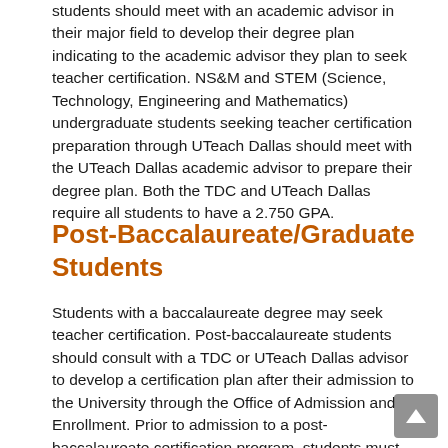students should meet with an academic advisor in their major field to develop their degree plan indicating to the academic advisor they plan to seek teacher certification. NS&M and STEM (Science, Technology, Engineering and Mathematics) undergraduate students seeking teacher certification preparation through UTeach Dallas should meet with the UTeach Dallas academic advisor to prepare their degree plan. Both the TDC and UTeach Dallas require all students to have a 2.750 GPA.
Post-Baccalaureate/Graduate Students
Students with a baccalaureate degree may seek teacher certification. Post-baccalaureate students should consult with a TDC or UTeach Dallas advisor to develop a certification plan after their admission to the University through the Office of Admission and Enrollment. Prior to admission to a post-baccalaureate certification program, students must meet the program standards based on